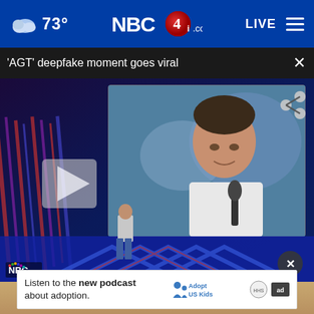73° NBC4i.com LIVE
'AGT' deepfake moment goes viral
[Figure (screenshot): Video thumbnail from NBC's America's Got Talent showing a man on stage with a large screen displaying Simon Cowell holding a microphone. A play button triangle is overlaid on the left side. NBC logo visible bottom left. Share icon top right.]
[Figure (other): Advertisement banner: 'Listen to the new podcast about adoption.' with Adopt US Kids logo and ad badge icons. Close button (X) above banner.]
Listen to the new podcast about adoption.